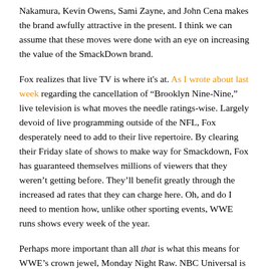Nakamura, Kevin Owens, Sami Zayne, and John Cena makes the brand awfully attractive in the present. I think we can assume that these moves were done with an eye on increasing the value of the SmackDown brand.
Fox realizes that live TV is where it's at. As I wrote about last week regarding the cancellation of “Brooklyn Nine-Nine,” live television is what moves the needle ratings-wise. Largely devoid of live programming outside of the NFL, Fox desperately need to add to their live repertoire. By clearing their Friday slate of shows to make way for Smackdown, Fox has guaranteed themselves millions of viewers that they weren’t getting before. They’ll benefit greatly through the increased ad rates that they can charge here. Oh, and do I need to mention how, unlike other sporting events, WWE runs shows every week of the year.
Perhaps more important than all that is what this means for WWE’s crown jewel, Monday Night Raw. NBC Universal is reportedly focused on keeping Raw in its lineup. Currently, Raw